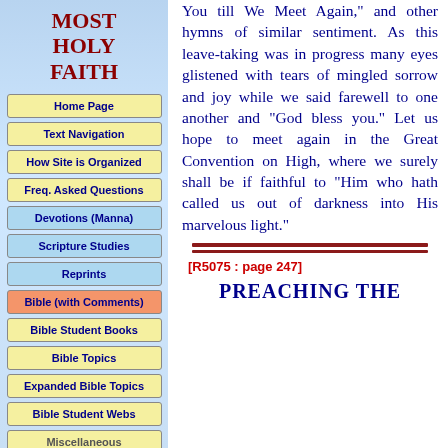MOST HOLY FAITH
Home Page
Text Navigation
How Site is Organized
Freq. Asked Questions
Devotions (Manna)
Scripture Studies
Reprints
Bible (with Comments)
Bible Student Books
Bible Topics
Expanded Bible Topics
Bible Student Webs
Miscellaneous
You till We Meet Again," and other hymns of similar sentiment. As this leave-taking was in progress many eyes glistened with tears of mingled sorrow and joy while we said farewell to one another and "God bless you." Let us hope to meet again in the Great Convention on High, where we surely shall be if faithful to "Him who hath called us out of darkness into His marvelous light."
[R5075 : page 247]
PREACHING THE